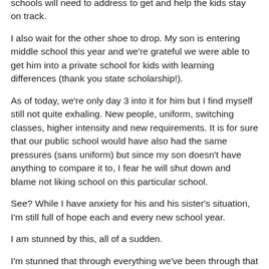schools will need to address to get and help the kids stay on track.
I also wait for the other shoe to drop. My son is entering middle school this year and we're grateful we were able to get him into a private school for kids with learning differences (thank you state scholarship!).
As of today, we're only day 3 into it for him but I find myself still not quite exhaling. New people, uniform, switching classes, higher intensity and new requirements. It is for sure that our public school would have also had the same pressures (sans uniform) but since my son doesn't have anything to compare it to, I fear he will shut down and blame not liking school on this particular school.
See? While I have anxiety for his and his sister's situation, I'm still full of hope each and every new school year.
I am stunned by this, all of a sudden.
I'm stunned that through everything we've been through that I still believe our kids can have a successful year by growing and learning and participating. If I didn't, I suppose I might